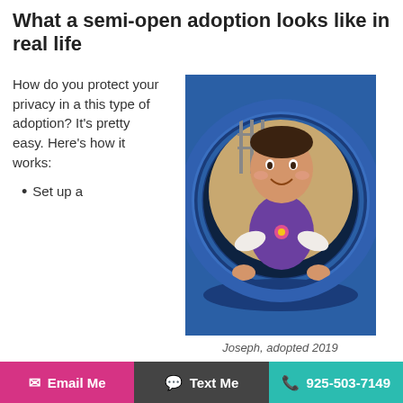What a semi-open adoption looks like in real life
How do you protect your privacy in a this type of adoption? It's pretty easy. Here's how it works:
Set up a
[Figure (photo): A smiling baby/toddler crawling through a blue play tunnel, wearing a purple top and white sleeves.]
Joseph, adopted 2019
Email Me   Text Me   925-503-7149